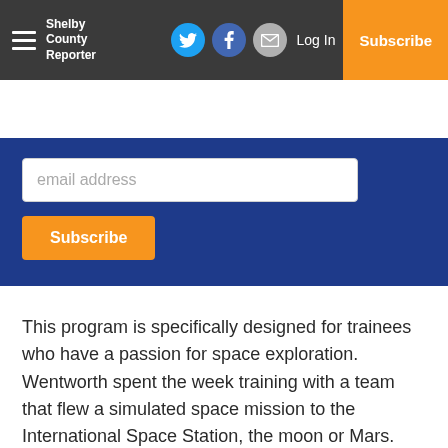Shelby County Reporter — Log In | Subscribe
[Figure (screenshot): Blue subscription form with email address input field and orange Subscribe button on dark blue background]
This program is specifically designed for trainees who have a passion for space exploration. Wentworth spent the week training with a team that flew a simulated space mission to the International Space Station, the moon or Mars. The crew participated in experiments and successfully